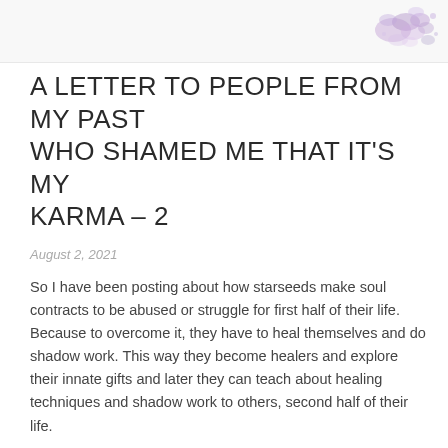A LETTER TO PEOPLE FROM MY PAST WHO SHAMED ME THAT IT’S MY KARMA – 2
August 2, 2021
So I have been posting about how starseeds make soul contracts to be abused or struggle for first half of their life. Because to overcome it, they have to heal themselves and do shadow work. This way they become healers and explore their innate gifts and later they can teach about healing techniques and shadow work to others, second half of their life.
I have also been posting about how universe uses karma to